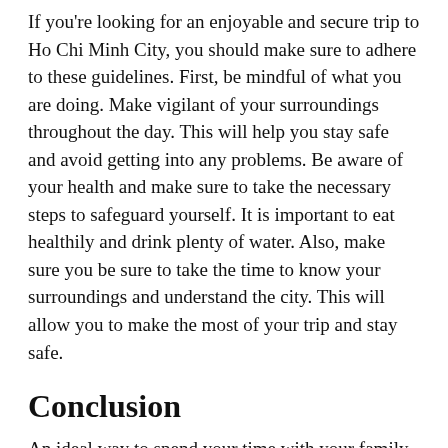If you're looking for an enjoyable and secure trip to Ho Chi Minh City, you should make sure to adhere to these guidelines. First, be mindful of what you are doing. Make vigilant of your surroundings throughout the day. This will help you stay safe and avoid getting into any problems. Be aware of your health and make sure to take the necessary steps to safeguard yourself. It is important to eat healthily and drink plenty of water. Also, make sure you be sure to take the time to know your surroundings and understand the city. This will allow you to make the most of your trip and stay safe.
Conclusion
An ideal way to spend your time with your family in [link]. In the meantime, it is to definitely look into The Walking Tours. They are a fantastic opportunity to learn about the history and learn about the city. It is also possible to visit some of the most popular tourist destinations in the city like The Saigon Zoo and the Ho Chi Minh National Museum. If you're seeking some tips to visit it, you are also best to visit the Vietnam Museum...